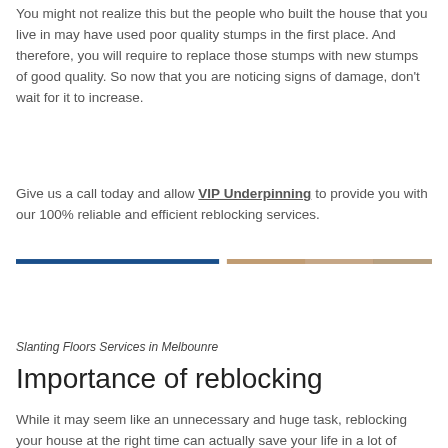You might not realize this but the people who built the house that you live in may have used poor quality stumps in the first place. And therefore, you will require to replace those stumps with new stumps of good quality. So now that you are noticing signs of damage, don't wait for it to increase.
Give us a call today and allow VIP Underpinning to provide you with our 100% reliable and efficient reblocking services.
[Figure (photo): Two horizontal bands: a dark navy/blue bar on the left and a tan/beige textured bar on the right, serving as a decorative divider or section of a photo showing slanting floors services.]
Slanting Floors Services in Melbounre
Importance of reblocking
While it may seem like an unnecessary and huge task, reblocking your house at the right time can actually save your life in a lot of cases.